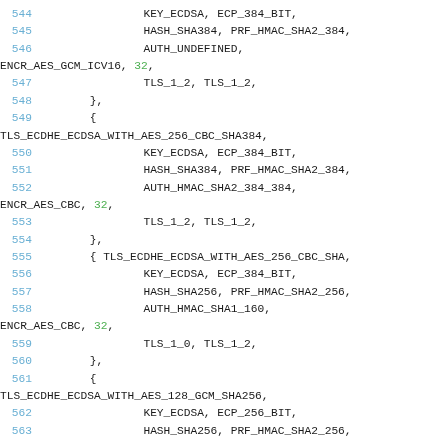544   KEY_ECDSA, ECP_384_BIT,
545   HASH_SHA384, PRF_HMAC_SHA2_384,
546   AUTH_UNDEFINED,
ENCR_AES_GCM_ICV16, 32,
547   TLS_1_2, TLS_1_2,
548   },
549   {
TLS_ECDHE_ECDSA_WITH_AES_256_CBC_SHA384,
550   KEY_ECDSA, ECP_384_BIT,
551   HASH_SHA384, PRF_HMAC_SHA2_384,
552   AUTH_HMAC_SHA2_384_384,
ENCR_AES_CBC, 32,
553   TLS_1_2, TLS_1_2,
554   },
555   { TLS_ECDHE_ECDSA_WITH_AES_256_CBC_SHA,
556   KEY_ECDSA, ECP_384_BIT,
557   HASH_SHA256, PRF_HMAC_SHA2_256,
558   AUTH_HMAC_SHA1_160,
ENCR_AES_CBC, 32,
559   TLS_1_0, TLS_1_2,
560   },
561   {
TLS_ECDHE_ECDSA_WITH_AES_128_GCM_SHA256,
562   KEY_ECDSA, ECP_256_BIT,
563   HASH_SHA256, PRF_HMAC_SHA2_256,